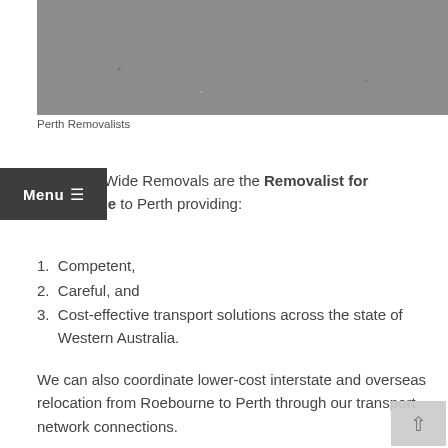[Figure (photo): A photo showing a dark vehicle on an asphalt road surface, taken from above/behind, with gravel/grass visible at the edge.]
Perth Removalists
WA State-Wide Removals are the Removalist for Roebourne to Perth providing:
Competent,
Careful, and
Cost-effective transport solutions across the state of Western Australia.
We can also coordinate lower-cost interstate and overseas relocation from Roebourne to Perth through our transport network connections.